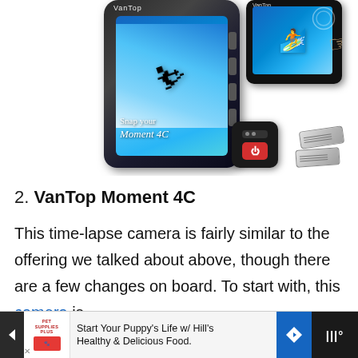[Figure (photo): Product photo of VanTop Moment 4C action camera showing the main camera body with skier image on screen, a touchscreen view with surfer, a remote control, and two batteries]
2. VanTop Moment 4C
This time-lapse camera is fairly similar to the offering we talked about above, though there are a few changes on board. To start with, this camera is
[Figure (other): Advertisement banner: Start Your Puppy's Life w/ Hill's Healthy & Delicious Food.]